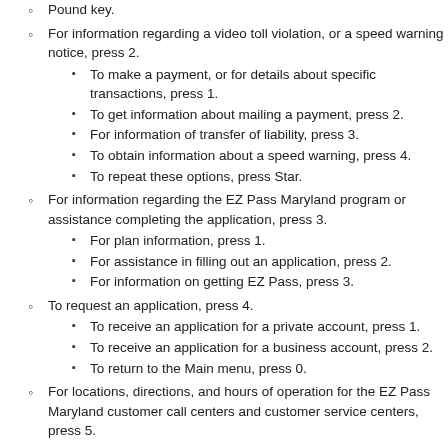Pound key.
For information regarding a video toll violation, or a speed warning notice, press 2.
To make a payment, or for details about specific transactions, press 1.
To get information about mailing a payment, press 2.
For information of transfer of liability, press 3.
To obtain information about a speed warning, press 4.
To repeat these options, press Star.
For information regarding the EZ Pass Maryland program or assistance completing the application, press 3.
For plan information, press 1.
For assistance in filling out an application, press 2.
For information on getting EZ Pass, press 3.
To request an application, press 4.
To receive an application for a private account, press 1.
To receive an application for a business account, press 2.
To return to the Main menu, press 0.
For locations, directions, and hours of operation for the EZ Pass Maryland customer call centers and customer service centers, press 5.